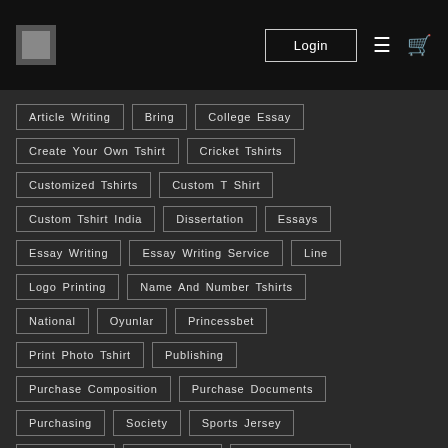Login
Article Writing
Bring
College Essay
Create Your Own Tshirt
Cricket Tshirts
Customized Tshirts
Custom T Shirt
Custom Tshirt India
Dissertation
Essays
Essay Writing
Essay Writing Service
Line
Logo Printing
Name And Number Tshirts
National
Oyunlar
Princessbet
Print Photo Tshirt
Publishing
Purchase Composition
Purchase Documents
Purchasing
Society
Sports Jersey
Sports Tshirt
Team Tshirts
Writing Services